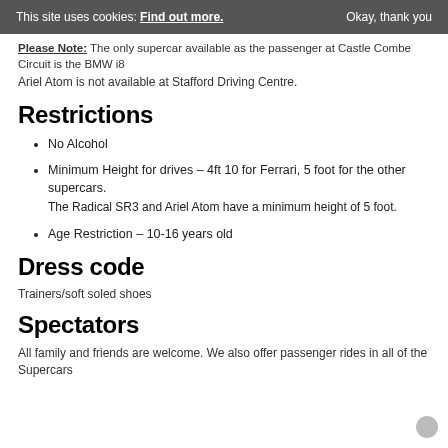This site uses cookies: Find out more. Okay, thank you
Please Note: The only supercar available as the passenger at Castle Combe Circuit is the BMW i8
Ariel Atom is not available at Stafford Driving Centre.
Restrictions
No Alcohol
Minimum Height for drives – 4ft 10 for Ferrari, 5 foot for the other supercars.
The Radical SR3 and Ariel Atom have a minimum height of 5 foot.
Age Restriction – 10-16 years old
Dress code
Trainers/soft soled shoes
Spectators
All family and friends are welcome. We also offer passenger rides in all of the Supercars